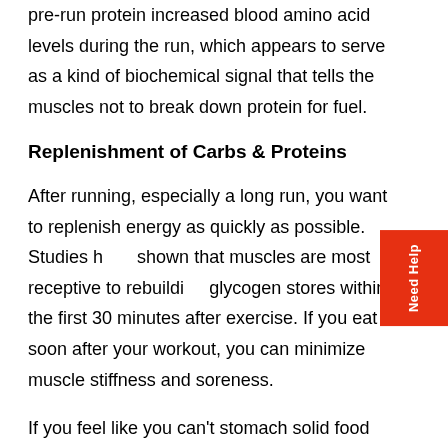pre-run protein increased blood amino acid levels during the run, which appears to serve as a kind of biochemical signal that tells the muscles not to break down protein for fuel.
Replenishment of Carbs & Proteins
After running, especially a long run, you want to replenish energy as quickly as possible. Studies have shown that muscles are most receptive to rebuilding glycogen stores within the first 30 minutes after exercise. If you eat soon after your workout, you can minimize muscle stiffness and soreness.
If you feel like you can't stomach solid food immediately after a run, try drinking chocolate milk. It